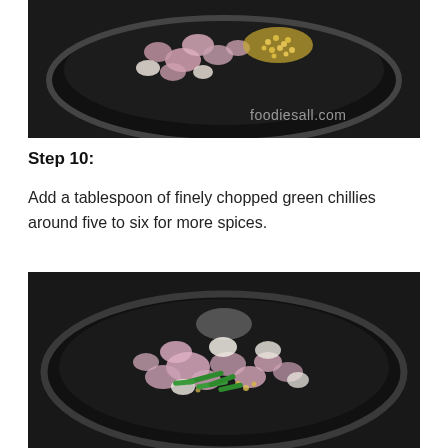[Figure (photo): A dark non-stick pan viewed from above, containing chopped onions and mustard seeds being sautéed, with watermark text 'foodiesall.com' in the lower right corner.]
Step 10:
Add a tablespoon of finely chopped green chillies around five to six for more spices.
[Figure (photo): A dark non-stick pan viewed from above, containing chopped onions, mustard seeds, and sliced green chillies being sautéed.]